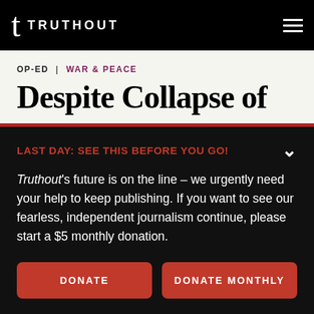TRUTHOUT
OP-ED  |  WAR & PEACE
Despite Collapse of
LAST DAY: SEE THIS BEFORE YOU GO!
Truthout's future is on the line – we urgently need your help to keep publishing. If you want to see our fearless, independent journalism continue, please start a $5 monthly donation.
DONATE
DONATE MONTHLY